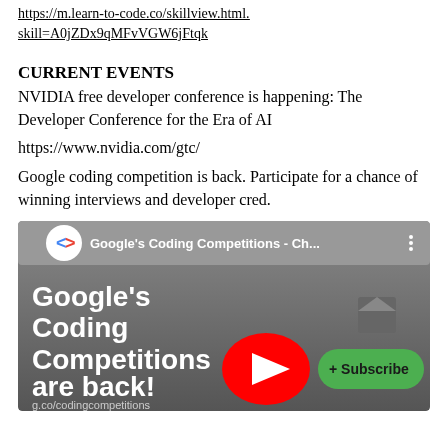https://m.learn-to-code.co/skillview.html.
skill=A0jZDx9qMFvVGW6jFtqk
CURRENT EVENTS
NVIDIA free developer conference is happening: The Developer Conference for the Era of AI
https://www.nvidia.com/gtc/
Google coding competition is back. Participate for a chance of winning interviews and developer cred.
[Figure (screenshot): YouTube video thumbnail for Google's Coding Competitions - Ch... showing 'Google's Coding Competitions are back!' text, a red YouTube play button, a green Subscribe button, and g.co/codingcompetitions URL at the bottom.]